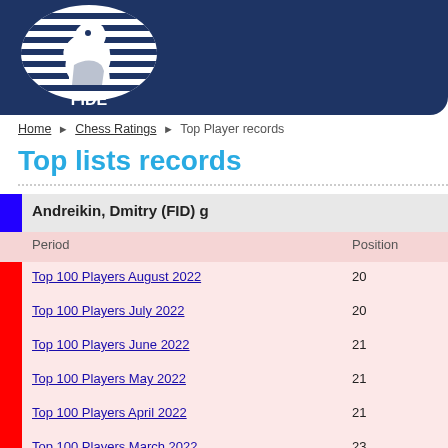[Figure (logo): FIDE logo: white knight chess piece inside an oval with white horizontal stripes, text FIDE below, on dark navy blue banner background]
Home ▶ Chess Ratings ▶ Top Player records
Top lists records
|  | Period | Position |
| --- | --- | --- |
| [blue] | Andreikin, Dmitry (FID) g |  |
| [red] | Top 100 Players August 2022 | 20 |
| [red] | Top 100 Players July 2022 | 20 |
| [red] | Top 100 Players June 2022 | 21 |
| [red] | Top 100 Players May 2022 | 21 |
| [red] | Top 100 Players April 2022 | 21 |
| [red] | Top 100 Players March 2022 | 23 |
| [red] | Top 100 Players February 2022 | 23 |
| [red] | Top 100 Players January 2022 | 23 |